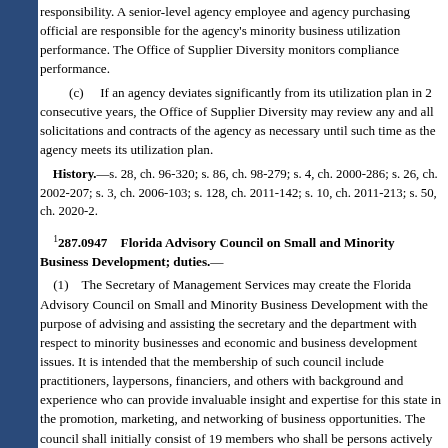responsibility. A senior-level agency employee and agency purchasing official are responsible for the agency's minority business utilization performance. The Office of Supplier Diversity monitors compliance performance.
(c) If an agency deviates significantly from its utilization plan in 2 consecutive years, the Office of Supplier Diversity may review any and all solicitations and contracts of the agency as necessary until such time as the agency meets its utilization plan.
History.—s. 28, ch. 96-320; s. 86, ch. 98-279; s. 4, ch. 2000-286; s. 26, ch. 2002-207; s. 3, ch. 2006-103; s. 128, ch. 2011-142; s. 10, ch. 2011-213; s. 50, ch. 2020-2.
1287.0947 Florida Advisory Council on Small and Minority Business Development; duties.—
(1) The Secretary of Management Services may create the Florida Advisory Council on Small and Minority Business Development with the purpose of advising and assisting the secretary and the department with respect to minority businesses and economic and business development issues. It is intended that the membership of such council include practitioners, laypersons, financiers, and others with background and experience who can provide invaluable insight and expertise for this state in the promotion, marketing, and networking of business opportunities. The council shall initially consist of 19 members who shall be persons actively engaged in small and minority business development, either in private or public capacity, or who is a scholar of recognized achievement in the study of such matters. Initially, the council membership shall be representing all regions of the state and shall include at least one member from each group identified in the definition of "minority person" in s. 288.703(4), considering also gender and disability. The council shall include the following:
(a) Four members consisting of representatives of local and federal small business agencies.